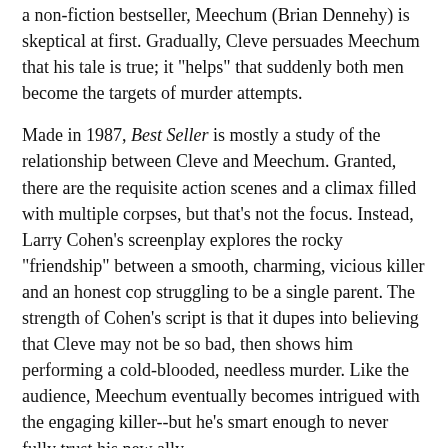a non-fiction bestseller, Meechum (Brian Dennehy) is skeptical at first. Gradually, Cleve persuades Meechum that his tale is true; it "helps" that suddenly both men become the targets of murder attempts.
Made in 1987, Best Seller is mostly a study of the relationship between Cleve and Meechum. Granted, there are the requisite action scenes and a climax filled with multiple corpses, but that's not the focus. Instead, Larry Cohen's screenplay explores the rocky "friendship" between a smooth, charming, vicious killer and an honest cop struggling to be a single parent. The strength of Cohen's script is that it dupes into believing that Cleve may not be so bad, then shows him performing a cold-blooded, needless murder. Like the audience, Meechum eventually becomes intrigued with the engaging killer--but he's smart enough to never fully trust his new ally.
Coming off a Best Actor nomination for Salvador (1986), James Woods pulls in the audience with his riveting
[Figure (photo): A photo showing a person (likely James Woods) holding a gun up near their face/head, black and white or muted tones.]